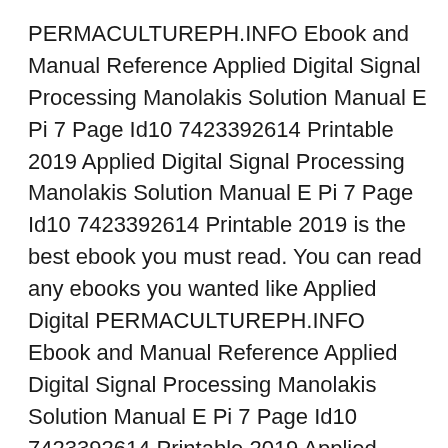PERMACULTUREPH.INFO Ebook and Manual Reference Applied Digital Signal Processing Manolakis Solution Manual E Pi 7 Page Id10 7423392614 Printable 2019 Applied Digital Signal Processing Manolakis Solution Manual E Pi 7 Page Id10 7423392614 Printable 2019 is the best ebook you must read. You can read any ebooks you wanted like Applied Digital PERMACULTUREPH.INFO Ebook and Manual Reference Applied Digital Signal Processing Manolakis Solution Manual E Pi 7 Page Id10 7423392614 Printable 2019 Applied Digital Signal Processing Manolakis Solution Manual E Pi 7 Page Id10 7423392614 Printable 2019 is the best ebook you must read. You can read any